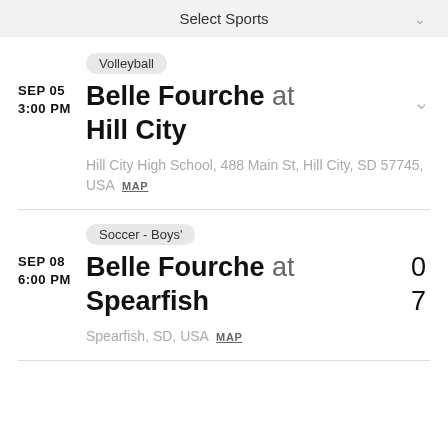Select Sports
Volleyball
SEP 05
3:00 PM
Belle Fourche at Hill City
Hill City High School, 488 Main St, Hill City, SD 57745, USA  MAP
Soccer - Boys'
SEP 08
6:00 PM
Belle Fourche at  0
Spearfish  7
Spearfish, SD, USA  MAP